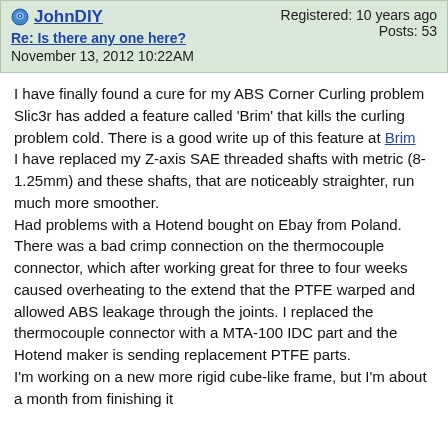JohnDIY — Registered: 10 years ago — Posts: 53 — Re: Is there any one here? — November 13, 2012 10:22AM
I have finally found a cure for my ABS Corner Curling problem Slic3r has added a feature called 'Brim' that kills the curling problem cold. There is a good write up of this feature at Brim
I have replaced my Z-axis SAE threaded shafts with metric (8-1.25mm) and these shafts, that are noticeably straighter, run much more smoother.
Had problems with a Hotend bought on Ebay from Poland. There was a bad crimp connection on the thermocouple connector, which after working great for three to four weeks caused overheating to the extend that the PTFE warped and allowed ABS leakage through the joints. I replaced the thermocouple connector with a MTA-100 IDC part and the Hotend maker is sending replacement PTFE parts.
I'm working on a new more rigid cube-like frame, but I'm about a month from finishing it